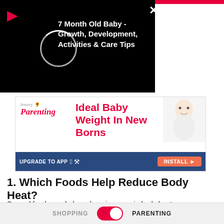[Figure (screenshot): Video popup overlay with play button, loading circle, and title '7 Month Old Baby - Growth, Development, Activities & Care Tips' on black background]
[Figure (infographic): FirstCry Parenting advertisement banner: 'Ideal Baby Weight In New Borns' with baby image and 'UPGRADE TO APP INSTALL' button on dark blue bar]
1. Which Foods Help Reduce Body Heat?
Several foods can help curb an increase in body heat, as mentioned below:
ADVERTISEMENT
Fruits
SHOPPING   PARENTING